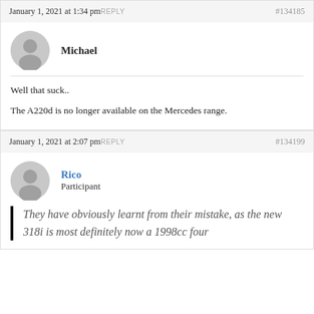January 1, 2021 at 1:34 pm REPLY  #134185
Michael
Well that suck..

The A220d is no longer available on the Mercedes range.
January 1, 2021 at 2:07 pm REPLY  #134199
Rico
Participant
They have obviously learnt from their mistake, as the new 318i is most definitely now a 1998cc four